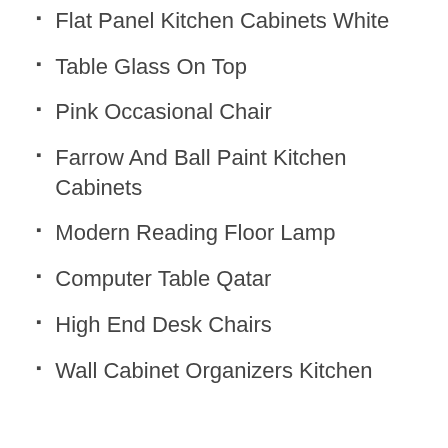Flat Panel Kitchen Cabinets White
Table Glass On Top
Pink Occasional Chair
Farrow And Ball Paint Kitchen Cabinets
Modern Reading Floor Lamp
Computer Table Qatar
High End Desk Chairs
Wall Cabinet Organizers Kitchen